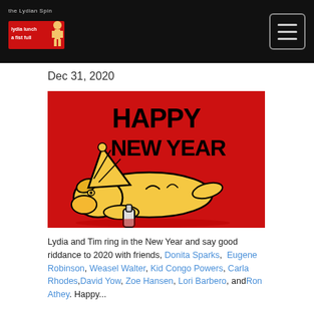the Lydian Spin
Dec 31, 2020
[Figure (illustration): Cartoon illustration on a red background of a yellow dog lying passed out wearing a party hat, holding an empty bottle, with text 'HAPPY NEW YEAR' in bold black lettering.]
Lydia and Tim ring in the New Year and say good riddance to 2020 with friends, Donita Sparks, Eugene Robinson, Weasel Walter, Kid Congo Powers, Carla Rhodes, David Yow, Zoe Hansen, Lori Barbero, and Ron Athey. Happy...